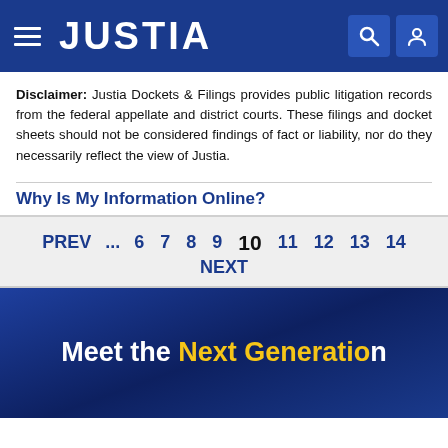JUSTIA
Disclaimer: Justia Dockets & Filings provides public litigation records from the federal appellate and district courts. These filings and docket sheets should not be considered findings of fact or liability, nor do they necessarily reflect the view of Justia.
Why Is My Information Online?
PREV ... 6 7 8 9 10 NEXT 11 12 13 14
Meet the Next Generation